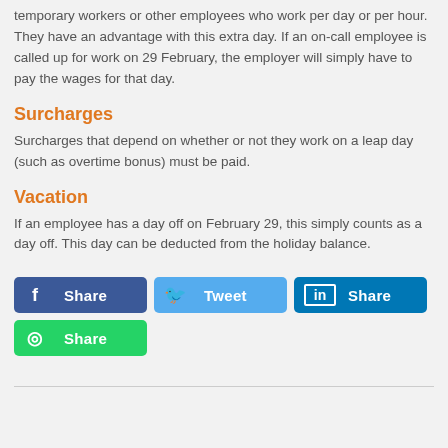temporary workers or other employees who work per day or per hour. They have an advantage with this extra day. If an on-call employee is called up for work on 29 February, the employer will simply have to pay the wages for that day.
Surcharges
Surcharges that depend on whether or not they work on a leap day (such as overtime bonus) must be paid.
Vacation
If an employee has a day off on February 29, this simply counts as a day off. This day can be deducted from the holiday balance.